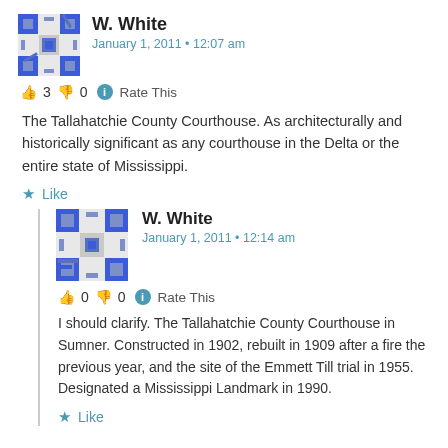W. White
January 1, 2011 • 12:07 am
👍 3 👎 0 ℹ Rate This
The Tallahatchie County Courthouse. As architecturally and historically significant as any courthouse in the Delta or the entire state of Mississippi.
★ Like
W. White
January 1, 2011 • 12:14 am
👍 0 👎 0 ℹ Rate This
I should clarify. The Tallahatchie County Courthouse in Sumner. Constructed in 1902, rebuilt in 1909 after a fire the previous year, and the site of the Emmett Till trial in 1955. Designated a Mississippi Landmark in 1990.
★ Like